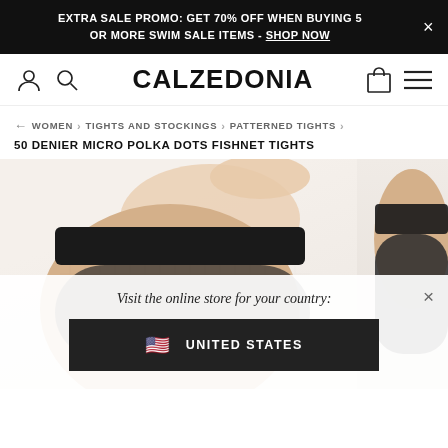EXTRA SALE PROMO: GET 70% OFF WHEN BUYING 5 OR MORE SWIM SALE ITEMS - SHOP NOW
CALZEDONIA
WOMEN > TIGHTS AND STOCKINGS > PATTERNED TIGHTS >
50 DENIER MICRO POLKA DOTS FISHNET TIGHTS
[Figure (photo): Close-up photo of legs wearing black 50 denier micro polka dots fishnet tights against a light beige background. Two panels visible: main left image showing the thigh/hip area with wide black waistband, and a right thumbnail also showing the same product.]
Visit the online store for your country:
UNITED STATES